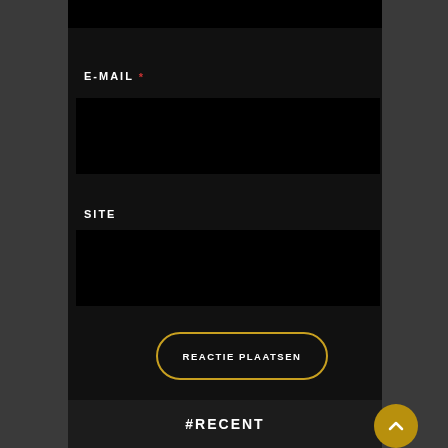E-MAIL *
[Figure (screenshot): Black input field for email]
SITE
[Figure (screenshot): Black input field for site/website]
REACTIE PLAATSEN
#RECENT